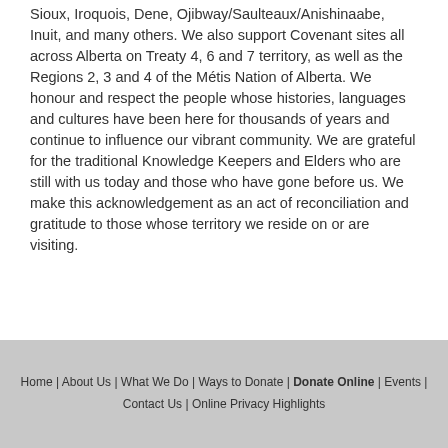Sioux, Iroquois, Dene, Ojibway/Saulteaux/Anishinaabe, Inuit, and many others. We also support Covenant sites all across Alberta on Treaty 4, 6 and 7 territory, as well as the Regions 2, 3 and 4 of the Métis Nation of Alberta. We honour and respect the people whose histories, languages and cultures have been here for thousands of years and continue to influence our vibrant community. We are grateful for the traditional Knowledge Keepers and Elders who are still with us today and those who have gone before us. We make this acknowledgement as an act of reconciliation and gratitude to those whose territory we reside on or are visiting.
Home | About Us | What We Do | Ways to Donate | Donate Online | Events | Contact Us | Online Privacy Highlights